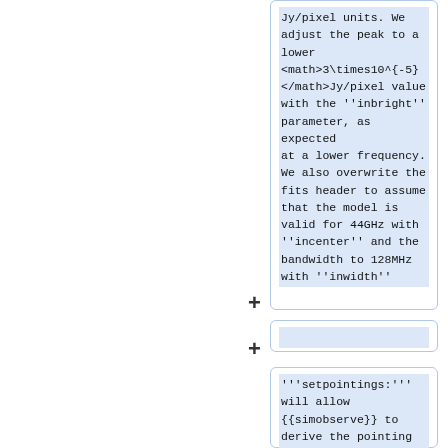Jy/pixel units. We adjust the peak to a lower 3\times10^{-5} Jy/pixel value with the ''inbright'' parameter, as expected at a lower frequency. We also overwrite the fits header to assume that the model is valid for 44GHz with ''incenter'' and the bandwidth to 128MHz with ''inwidth''
'''setpointings:''' will allow {{simobserve}} to derive the pointing positions by its own